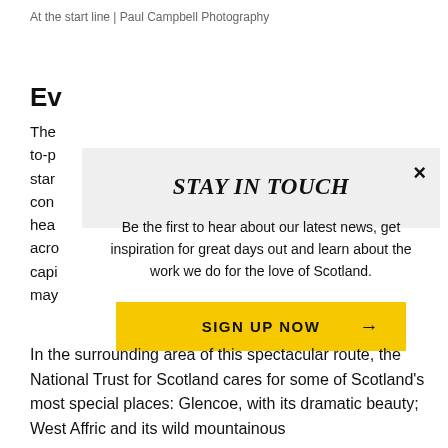At the start line | Paul Campbell Photography
Ev
The to-p star con hea acro capi may
STAY IN TOUCH
Be the first to hear about our latest news, get inspiration for great days out and learn about the work we do for the love of Scotland.
SIGN UP NOW →
In the surrounding area of this spectacular route, the National Trust for Scotland cares for some of Scotland's most special places: Glencoe, with its dramatic beauty; West Affric and its wild mountainous